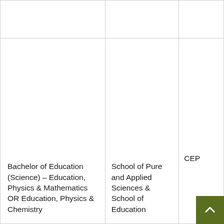| Program | School | Code |
| --- | --- | --- |
|  |  |  |
| Bachelor of Education (Science) – Education, Physics & Mathematics OR Education, Physics & Chemistry | School of Pure and Applied Sciences & School of Education | CEP |